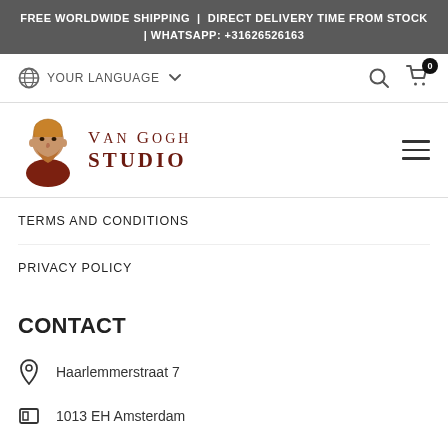FREE WORLDWIDE SHIPPING | DIRECT DELIVERY TIME FROM STOCK | WHATSAPP: +31626526163
YOUR LANGUAGE
[Figure (logo): Van Gogh Studio logo with illustration of Van Gogh and text 'VAN GOGH STUDIO']
TERMS AND CONDITIONS
PRIVACY POLICY
CONTACT
Haarlemmerstraat 7
1013 EH Amsterdam
+31626526163